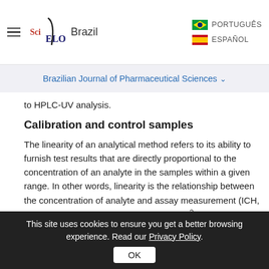SciELO Brazil | PORTUGUÊS | ESPAÑOL
Brazilian Journal of Pharmaceutical Sciences
to HPLC-UV analysis.
Calibration and control samples
The linearity of an analytical method refers to its ability to furnish test results that are directly proportional to the concentration of an analyte in the samples within a given range. In other words, linearity is the relationship between the concentration of analyte and assay measurement (ICH, 1996). We used correlation coefficient (R 2) obtained from the linear regression to demonstrate
This site uses cookies to ensure you get a better browsing experience. Read our Privacy Policy.